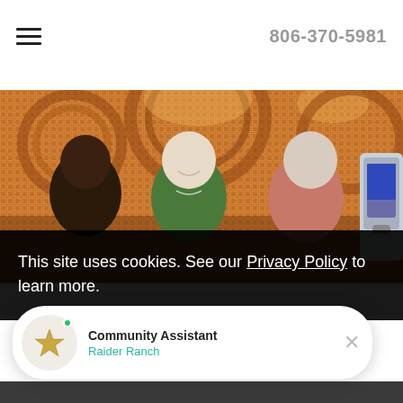806-370-5981
[Figure (photo): Three elderly women socializing in front of a decorative orange and brown mosaic tile wall. One woman smiles broadly in the center wearing green. There is a hand sanitizer dispenser at the right edge.]
This site uses cookies. See our Privacy Policy to learn more.
Community Assistant
Raider Ranch